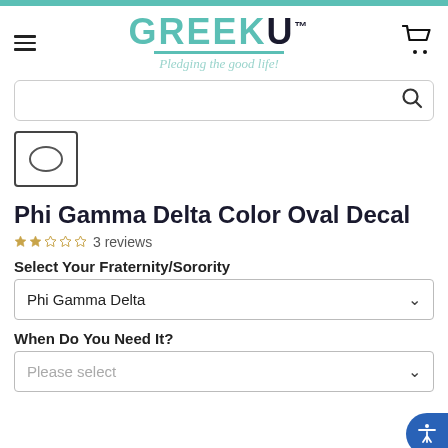[Figure (logo): GreekU logo with teal letters and tagline 'Pledging the good life!']
Phi Gamma Delta Color Oval Decal
3 reviews
Select Your Fraternity/Sorority
Phi Gamma Delta
When Do You Need It?
Please select